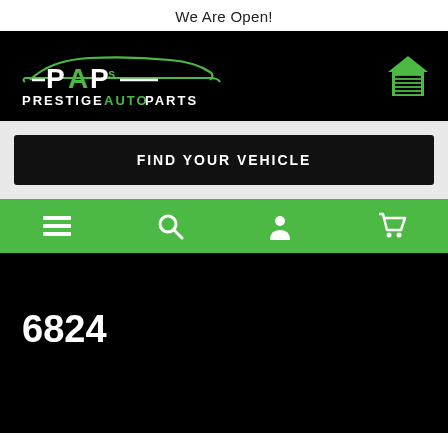We Are Open!
[Figure (logo): PAPs Prestige Auto Parts logo with green car silhouette on black background, and green house/garage icon on the right]
FIND YOUR VEHICLE
[Figure (infographic): Green navigation bar with hamburger menu icon, search icon, user/person icon, and shopping cart icon]
6824